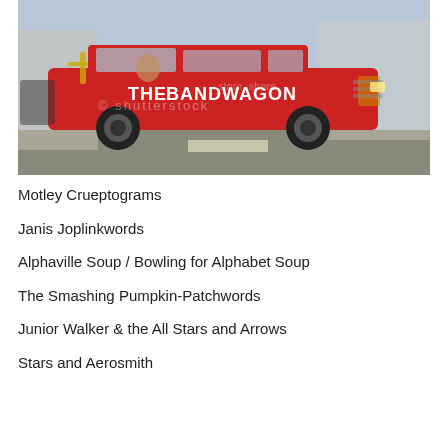[Figure (photo): A red station wagon labeled 'THE BANDWAGON' parked on a street, with musicians visible inside and instruments sticking out. Watermarked stock photo.]
Motley Crueptograms
Janis Joplinkwords
Alphaville Soup / Bowling for Alphabet Soup
The Smashing Pumpkin-Patchwords
Junior Walker & the All Stars and Arrows
Stars and Aerosmith